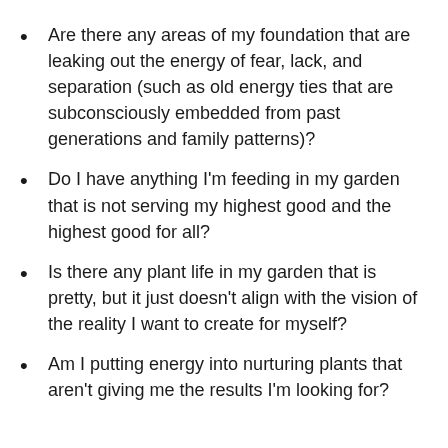Are there any areas of my foundation that are leaking out the energy of fear, lack, and separation (such as old energy ties that are subconsciously embedded from past generations and family patterns)?
Do I have anything I'm feeding in my garden that is not serving my highest good and the highest good for all?
Is there any plant life in my garden that is pretty, but it just doesn't align with the vision of the reality I want to create for myself?
Am I putting energy into nurturing plants that aren't giving me the results I'm looking for?